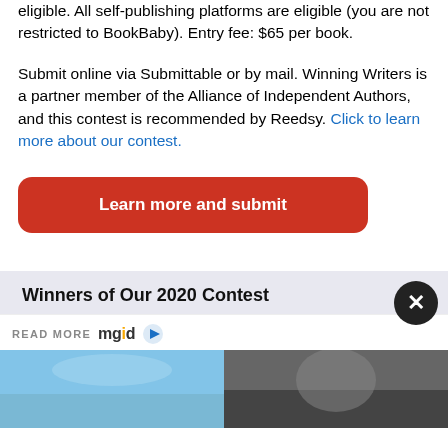eligible. All self-publishing platforms are eligible (you are not restricted to BookBaby). Entry fee: $65 per book.
Submit online via Submittable or by mail. Winning Writers is a partner member of the Alliance of Independent Authors, and this contest is recommended by Reedsy. Click to learn more about our contest.
[Figure (other): Red rounded rectangle button with white text 'Learn more and submit']
Winners of Our 2020 Contest
READ MORE mgid
[Figure (photo): Two side-by-side photos at the bottom of the page, left showing a beach scene, right showing a person]